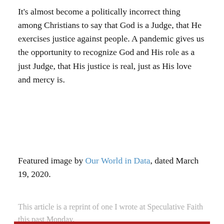It's almost become a politically incorrect thing among Christians to say that God is a Judge, that He exercises justice against people. A pandemic gives us the opportunity to recognize God and His role as a just Judge, that His justice is real, just as His love and mercy is.
Featured image by Our World in Data, dated March 19, 2020.
This article is a reprint of one I wrote at Speculative Faith this past Monday.
Privacy & Cookies: This site uses cookies. By continuing to use this website, you agree to their use.
To find out more, including how to control cookies, see here: Cookie Policy